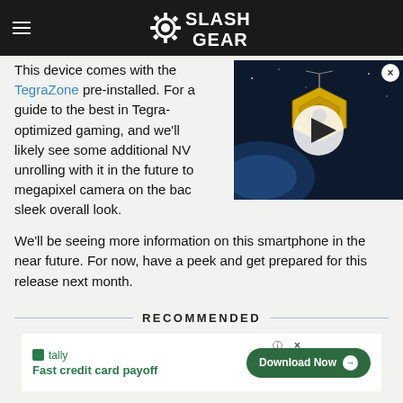SlashGear
This device comes with the TegraZone pre-installed. For a guide to the best in Tegra-optimized gaming, and we'll likely see some additional NV unrolling with it in the future to megapixel camera on the back sleek overall look.
[Figure (screenshot): Video thumbnail showing the James Webb Space Telescope with a play button overlay, with a close (X) button in the top right corner]
We'll be seeing more information on this smartphone in the near future. For now, have a peek and get prepared for this release next month.
RECOMMENDED
[Figure (infographic): Tally advertisement banner: Fast credit card payoff, with a Download Now button]